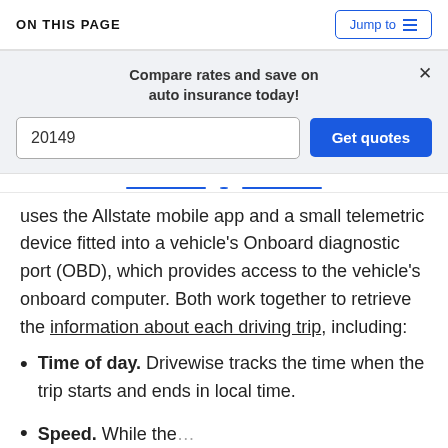ON THIS PAGE
Compare rates and save on auto insurance today!
20149
Get quotes
uses the Allstate mobile app and a small telemetric device fitted into a vehicle's Onboard diagnostic port (OBD), which provides access to the vehicle's onboard computer. Both work together to retrieve the information about each driving trip, including:
Time of day. Drivewise tracks the time when the trip starts and ends in local time.
Speed. While the...